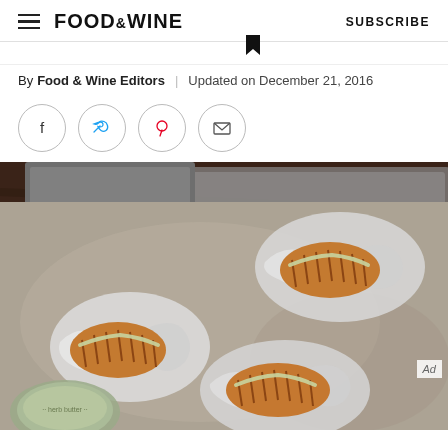FOOD & WINE  SUBSCRIBE
By Food & Wine Editors | Updated on December 21, 2016
[Figure (illustration): Social sharing icons: Facebook, Twitter, Pinterest, Email — each in a circle outline]
[Figure (photo): Overhead photo of hasselback sweet potatoes wrapped in aluminum foil on a baking tray, with herb butter drizzled over them, on a rustic wooden surface. There is also a small bowl of herb butter visible.]